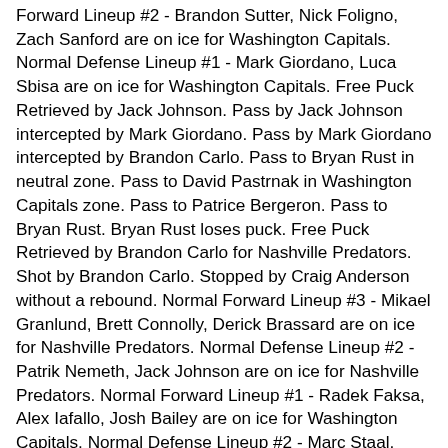Forward Lineup #2 - Brandon Sutter, Nick Foligno, Zach Sanford are on ice for Washington Capitals. Normal Defense Lineup #1 - Mark Giordano, Luca Sbisa are on ice for Washington Capitals. Free Puck Retrieved by Jack Johnson. Pass by Jack Johnson intercepted by Mark Giordano. Pass by Mark Giordano intercepted by Brandon Carlo. Pass to Bryan Rust in neutral zone. Pass to David Pastrnak in Washington Capitals zone. Pass to Patrice Bergeron. Pass to Bryan Rust. Bryan Rust loses puck. Free Puck Retrieved by Brandon Carlo for Nashville Predators. Shot by Brandon Carlo. Stopped by Craig Anderson without a rebound. Normal Forward Lineup #3 - Mikael Granlund, Brett Connolly, Derick Brassard are on ice for Nashville Predators. Normal Defense Lineup #2 - Patrik Nemeth, Jack Johnson are on ice for Nashville Predators. Normal Forward Lineup #1 - Radek Faksa, Alex Iafallo, Josh Bailey are on ice for Washington Capitals. Normal Defense Lineup #2 - Marc Staal, Derek Forbort are on ice for Washington Capitals. Mikael Granlund wins face-off versus Radek Faksa in Washington Capitals zone. Pass to Jack Johnson. Pass by Jack Johnson intercepted by Marc Staal. Pass by Marc Staal intercepted by Mikael Granlund in neutral zone. Off-side. Normal Defense Lineup #1 - Travis Hamonic, Brandon Carlo are on ice for Nashville Predators. Normal Defense Lineup #1 - Mark Giordano, Luca Sbisa are on ice for Washington Capitals. Radek Faksa wins face-off versus Mikael Granlund in neutral zone. Pass to Mark Giordano. Radek Faksa is hit by Brett Connolly. Mark Giordano passes puck to Nashville Predators zone. Pass to Jack